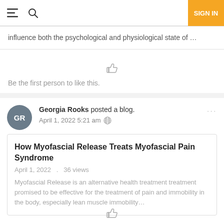SIGN IN
influence both the psychological and physiological state of …
Be the first person to like this.
Georgia Rooks posted a blog. April 1, 2022 5:21 am
How Myofascial Release Treats Myofascial Pain Syndrome
April 1, 2022   .   36 views
Myofascial Release is an alternative health treatment treatment promised to be effective for the treatment of pain and immobility in the body, especially lean muscle immobility…